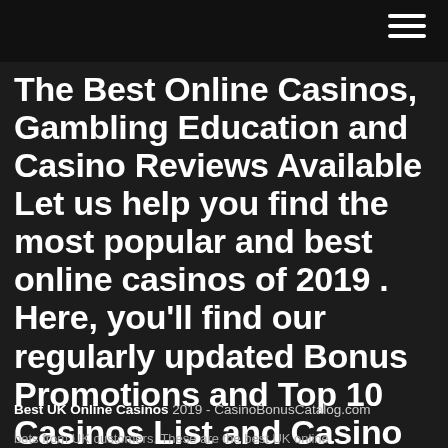The Best Online Casinos, Gambling Education and Casino Reviews Available Let us help you find the most popular and best online casinos of 2019 . Here, you'll find our regularly updated Bonus Promotions and Top 10 Casinos List and Casino Reviews , as well as gambling advice from expert gamblers and online gambling insiders.
Best UK Online Casinos 2019 - CasinoBonusCatalog.com
bets from UK customers. These are the best UK online